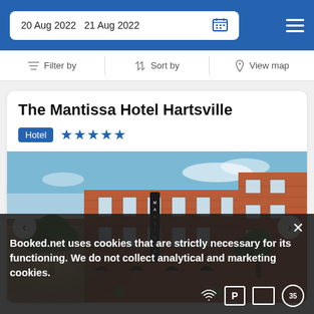20 Aug 2022  21 Aug 2022
Filter by  Sort by  View map
The Mantissa Hotel Hartsville
Hotel ★★★★★
[Figure (photo): Exterior photo of The Mantissa Hotel Hartsville, a red brick multi-story building with trees and street-level arched awnings, photographed at dusk with navigation arrows on left and right.]
Booked.net uses cookies that are strictly necessary for its functioning. We do not collect analytical and marketing cookies.